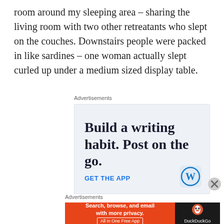room around my sleeping area – sharing the living room with two other retreatants who slept on the couches. Downstairs people were packed in like sardines – one woman actually slept curled up under a medium sized display table.
Advertisements
[Figure (screenshot): Advertisement for WordPress mobile app: 'Build a writing habit. Post on the go.' with GET THE APP call to action and WordPress logo icon]
[Figure (screenshot): DuckDuckGo advertisement: 'Search, browse, and email with more privacy. All in One Free App' with DuckDuckGo logo on dark background]
Advertisements